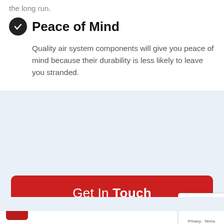the long run.
Peace of Mind
Quality air system components will give you peace of mind because their durability is less likely to leave you stranded.
Get In Touch